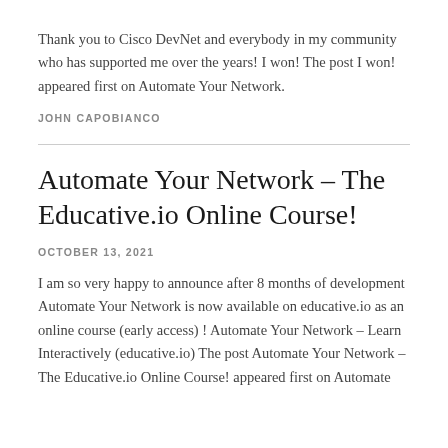Thank you to Cisco DevNet and everybody in my community who has supported me over the years! I won! The post I won! appeared first on Automate Your Network.
JOHN CAPOBIANCO
Automate Your Network – The Educative.io Online Course!
OCTOBER 13, 2021
I am so very happy to announce after 8 months of development Automate Your Network is now available on educative.io as an online course (early access) ! Automate Your Network – Learn Interactively (educative.io) The post Automate Your Network – The Educative.io Online Course! appeared first on Automate